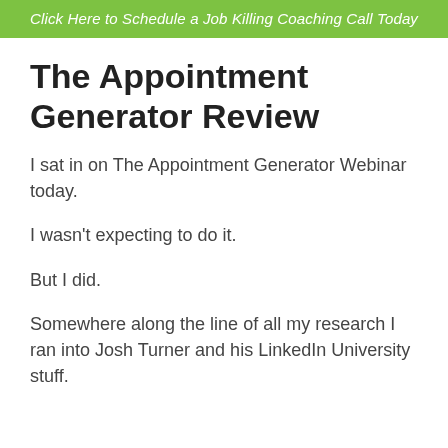Click Here to Schedule a Job Killing Coaching Call Today
The Appointment Generator Review
I sat in on The Appointment Generator Webinar today.
I wasn't expecting to do it.
But I did.
Somewhere along the line of all my research I ran into Josh Turner and his LinkedIn University stuff.